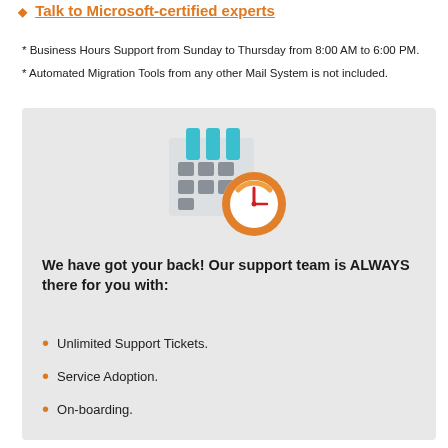Talk to Microsoft-certified experts
* Business Hours Support from Sunday to Thursday from 8:00 AM to 6:00 PM.
* Automated Migration Tools from any other Mail System is not included.
[Figure (illustration): Calendar icon with orange clock overlay, representing scheduling/support availability]
We have got your back! Our support team is ALWAYS there for you with:
Unlimited Support Tickets.
Service Adoption.
On-boarding.